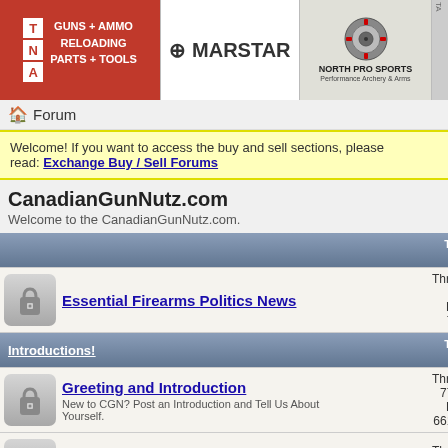[Figure (screenshot): Advertisement banner row with TNA Guns+Ammo Reloading Parts+Tools (red), Marstar (white), North Pro Sports (gray), partial fourth ad]
Forum
Welcome! If you want to access the buy and sell sections, please read: Exchange Buy / Sell Forums
CanadianGunNutz.com
Welcome to the CanadianGunNutz.com.
| Forum | Threads / Posts |
| --- | --- |
| Essential Firearms Politics News | Threads: 2
Posts: 7,59... |
| Introductions! | Greeting and Introduction | New to CGN? Post an Introduction and Tell Us About Yourself. | Threads: 77,74...
Posts: 661,69... |
| Newbie FAQs | For Those New to the Shooting Sports | Threads: 5,40...
Posts: ... |